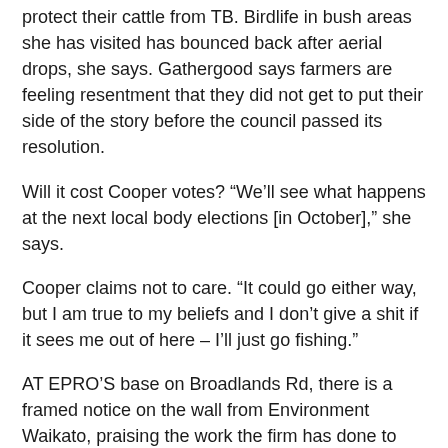protect their cattle from TB. Birdlife in bush areas she has visited has bounced back after aerial drops, she says. Gathergood says farmers are feeling resentment that they did not get to put their side of the story before the council passed its resolution.
Will it cost Cooper votes? “We’ll see what happens at the next local body elections [in October],” she says.
Cooper claims not to care. “It could go either way, but I am true to my beliefs and I don’t give a shit if it sees me out of here – I’ll just go fishing.”
AT EPRO’S base on Broadlands Rd, there is a framed notice on the wall from Environment Waikato, praising the work the firm has done to prevent the spread of bovine TB.
Lorigan says in the mid 90s, Taupo had 250 cattle herds on movement control because of TB – today there are none. “Isn’t